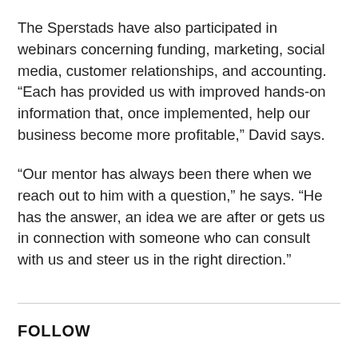The Sperstads have also participated in webinars concerning funding, marketing, social media, customer relationships, and accounting. “Each has provided us with improved hands-on information that, once implemented, help our business become more profitable,” David says.
“Our mentor has always been there when we reach out to him with a question,” he says. “He has the answer, an idea we are after or gets us in connection with someone who can consult with us and steer us in the right direction.”
FOLLOW